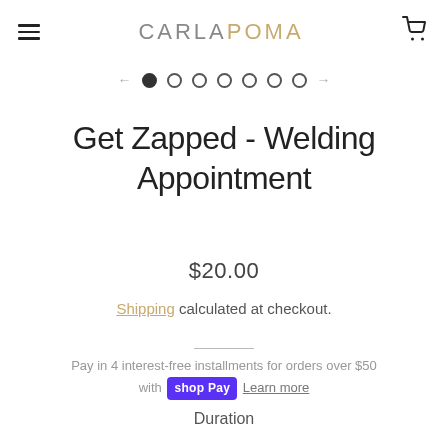CARLA POMA
[Figure (other): Carousel navigation with left arrow, 7 dots (first filled), and right arrow]
Get Zapped - Welding Appointment
$20.00
Shipping calculated at checkout.
Pay in 4 interest-free installments for orders over $50 with Shop Pay Learn more
Duration